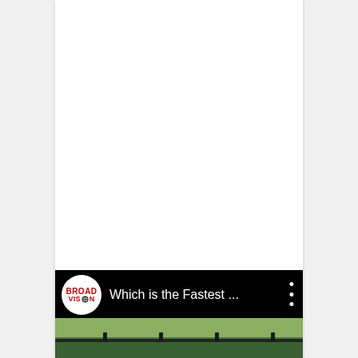[Figure (screenshot): A video thumbnail/card with a black background. On the left is a circular logo with 'Broad Vision' text in red on a white circle. Next to it is the title text 'Which is the Fastest ...' in white. On the right are three vertical dots (more options menu). Below is a cropped image showing a green field with a dark fence rail running horizontally across the lower portion.]